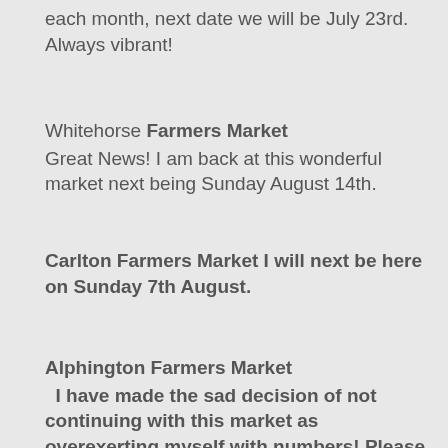each month, next date we will be July 23rd. Always vibrant!
Whitehorse Farmers Market
Great News! I am back at this wonderful market next being Sunday August 14th.
Carlton Farmers Market I will next be here on Sunday 7th August.
Alphington Farmers Market
  I have made the sad decision of not continuing with this market as overexerting myself with numbers! Please find me at